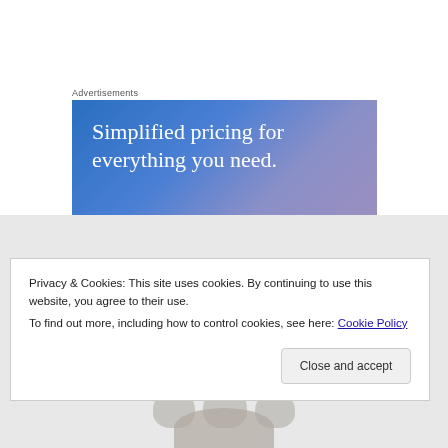Advertisements
[Figure (illustration): Advertisement banner with blue-to-purple gradient background and white serif text reading: Simplified pricing for everything you need.]
[Figure (photo): Gray background image area with three round objects visible at the bottom edge and a partial person thumbnail.]
Privacy & Cookies: This site uses cookies. By continuing to use this website, you agree to their use.
To find out more, including how to control cookies, see here: Cookie Policy
Close and accept